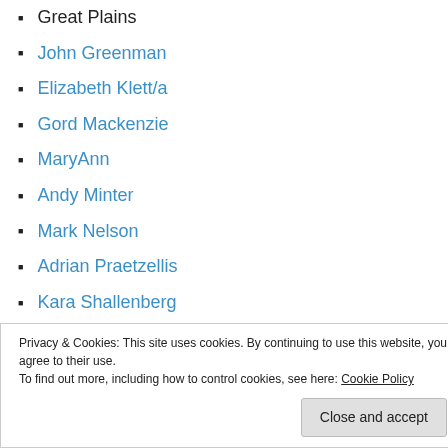Great Plains
John Greenman
Elizabeth Klett/a
Gord Mackenzie
MaryAnn
Andy Minter
Mark Nelson
Adrian Praetzellis
Kara Shallenberg
Darren L. Slider
Mark F. Smith
Privacy & Cookies: This site uses cookies. By continuing to use this website, you agree to their use. To find out more, including how to control cookies, see here: Cookie Policy